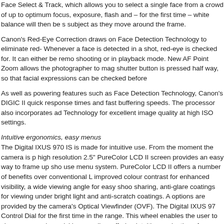Face Select & Track, which allows you to select a single face from a crowd of up to optimum focus, exposure, flash and – for the first time – white balance will then be s subject as they move around the frame.
Canon's Red-Eye Correction draws on Face Detection Technology to eliminate red- Whenever a face is detected in a shot, red-eye is checked for. It can either be remo shooting or in playback mode. New AF Point Zoom allows the photographer to mag shutter button is pressed half way, so that facial expressions can be checked before
As well as powering features such as Face Detection Technology, Canon's DIGIC II quick response times and fast buffering speeds. The processor also incorporates ad Technology for excellent image quality at high ISO settings.
Intuitive ergonomics, easy menus
The Digital IXUS 970 IS is made for intuitive use. From the moment the camera is p high resolution 2.5" PureColor LCD II screen provides an easy way to frame up sho use menu system. PureColor LCD II offers a number of benefits over conventional L improved colour contrast for enhanced visibility, a wide viewing angle for easy shoo sharing, anti-glare coatings for viewing under bright light and anti-scratch coatings. A options are provided by the camera's Optical Viewfinder (OVF). The Digital IXUS 97 Control Dial for the first time in the range. This wheel enables the user to change ca modes quickly, as well as offering intuitive navigation of menus and convenient imag
A host of features enables users to enhance their shooting options. Users can choo shooting modes, including Special Scene modes that automatically optimise camera shooting subjects.
The Digital IXUS 970 IS features new Sunset scene mode for the optimum capture options include Long Play (LP) mode, which uses only half the memory of standard